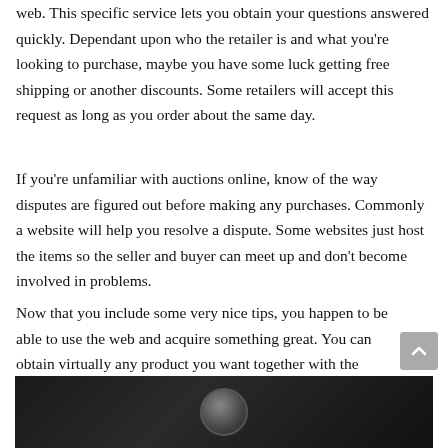web. This specific service lets you obtain your questions answered quickly. Dependant upon who the retailer is and what you're looking to purchase, maybe you have some luck getting free shipping or another discounts. Some retailers will accept this request as long as you order about the same day.
If you're unfamiliar with auctions online, know of the way disputes are figured out before making any purchases. Commonly a website will help you resolve a dispute. Some websites just host the items so the seller and buyer can meet up and don't become involved in problems.
Now that you include some very nice tips, you happen to be able to use the web and acquire something great. You can obtain virtually any product you want together with the click of a mouse. Start shopping today and remember to use everything you've learned here to guide you..
[Figure (photo): Dark photograph showing a face or figure, mostly black background]